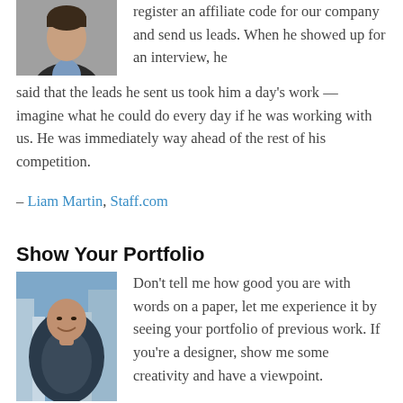[Figure (photo): Headshot of a man in a dark suit and light blue shirt]
register an affiliate code for our company and send us leads. When he showed up for an interview, he said that the leads he sent us took him a day's work — imagine what he could do every day if he was working with us. He was immediately way ahead of the rest of his competition.
– Liam Martin, Staff.com
Show Your Portfolio
[Figure (photo): Headshot of a bald man smiling against an urban skyline background]
Don't tell me how good you are with words on a paper, let me experience it by seeing your portfolio of previous work. If you're a designer, show me some creativity and have a viewpoint. If you're an engineer, show me your Stack Overflow, Server Fault, GitHub or Google Code. Past accomplishments are more